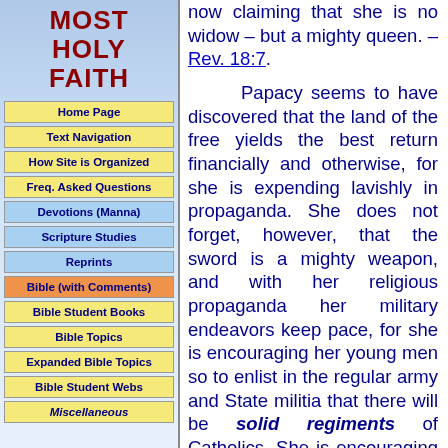MOST HOLY FAITH
Home Page
Text Navigation
How Site is Organized
Freq. Asked Questions
Devotions (Manna)
Scripture Studies
Reprints
Bible (with Comments)
Bible Student Books
Bible Topics
Expanded Bible Topics
Bible Student Webs
Miscellaneous
now claiming that she is no widow – but a mighty queen. – Rev. 18:7.

Papacy seems to have discovered that the land of the free yields the best return financially and otherwise, for she is expending lavishly in propaganda. She does not forget, however, that the sword is a mighty weapon, and with her religious propaganda her military endeavors keep pace, for she is encouraging her young men so to enlist in the regular army and State militia that there will be solid regiments of Catholics. She is encouraging her…